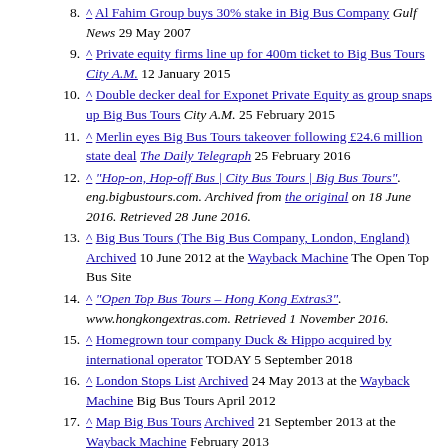^ Big Bus Company Archived 4 October 2013 at the Wayback Machine ameinfo.com 29 May 2007
8. ^ Al Fahim Group buys 30% stake in Big Bus Company Gulf News 29 May 2007
9. ^ Private equity firms line up for 400m ticket to Big Bus Tours City A.M. 12 January 2015
10. ^ Double decker deal for Exponet Private Equity as group snaps up Big Bus Tours City A.M. 25 February 2015
11. ^ Merlin eyes Big Bus Tours takeover following £24.6 million state deal The Daily Telegraph 25 February 2016
12. ^ "Hop-on, Hop-off Bus | City Bus Tours | Big Bus Tours". eng.bigbustours.com. Archived from the original on 18 June 2016. Retrieved 28 June 2016.
13. ^ Big Bus Tours (The Big Bus Company, London, England) Archived 10 June 2012 at the Wayback Machine The Open Top Bus Site
14. ^ "Open Top Bus Tours – Hong Kong Extras3". www.hongkongextras.com. Retrieved 1 November 2016.
15. ^ Homegrown tour company Duck & Hippo acquired by international operator TODAY 5 September 2018
16. ^ London Stops List Archived 24 May 2013 at the Wayback Machine Big Bus Tours April 2012
17. ^ Map Big Bus Tours Archived 21 September 2013 at the Wayback Machine February 2013